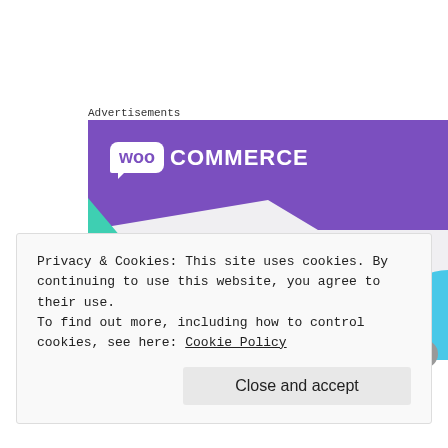Advertisements
[Figure (illustration): WooCommerce advertisement banner showing the WooCommerce logo on a purple background with teal and blue decorative shapes, and the text 'How to start selling subscriptions online' on a light grey background.]
Privacy & Cookies: This site uses cookies. By continuing to use this website, you agree to their use.
To find out more, including how to control cookies, see here: Cookie Policy
Close and accept